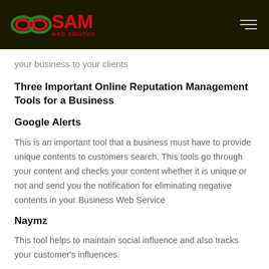[Figure (logo): SAM web solution logo with infinity/loop symbol in red and green on dark background header bar]
your business to your clients
Three Important Online Reputation Management Tools for a Business
Google Alerts
This is an important tool that a business must have to provide unique contents to customers search. This tools go through your content and checks your content whether it is unique or not and send you the notification for eliminating negative contents in your Business Web Service
Naymz
This tool helps to maintain social influence and also tracks your customer's influences.